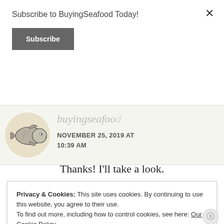Subscribe to BuyingSeafood Today!
Subscribe
[Figure (illustration): Fish head illustration (avatar/logo for buyingseafood commenter) on a cream circular background]
buyingseafood
NOVEMBER 25, 2019 AT 10:39 AM
Thanks! I'll take a look.
Privacy & Cookies: This site uses cookies. By continuing to use this website, you agree to their use.
To find out more, including how to control cookies, see here: Our Cookie Policy
Close and accept